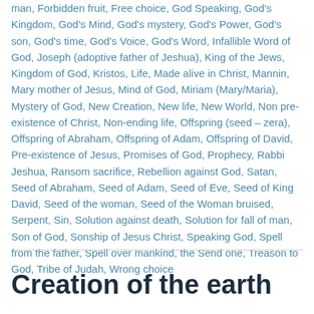man, Forbidden fruit, Free choice, God Speaking, God's Kingdom, God's Mind, God's mystery, God's Power, God's son, God's time, God's Voice, God's Word, Infallible Word of God, Joseph (adoptive father of Jeshua), King of the Jews, Kingdom of God, Kristos, Life, Made alive in Christ, Mannin, Mary mother of Jesus, Mind of God, Miriam (Mary/Maria), Mystery of God, New Creation, New life, New World, Non pre-existence of Christ, Non-ending life, Offspring (seed – zera), Offspring of Abraham, Offspring of Adam, Offspring of David, Pre-existence of Jesus, Promises of God, Prophecy, Rabbi Jeshua, Ransom sacrifice, Rebellion against God, Satan, Seed of Abraham, Seed of Adam, Seed of Eve, Seed of King David, Seed of the woman, Seed of the Woman bruised, Serpent, Sin, Solution against death, Solution for fall of man, Son of God, Sonship of Jesus Christ, Speaking God, Spell from the father, Spell over mankind, the Send one, Treason to God, Tribe of Judah, Wrong choice
Creation of the earth